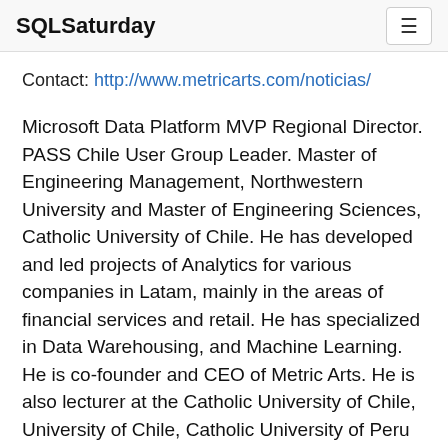SQLSaturday
Contact: http://www.metricarts.com/noticias/
Microsoft Data Platform MVP Regional Director. PASS Chile User Group Leader. Master of Engineering Management, Northwestern University and Master of Engineering Sciences, Catholic University of Chile. He has developed and led projects of Analytics for various companies in Latam, mainly in the areas of financial services and retail. He has specialized in Data Warehousing, and Machine Learning. He is co-founder and CEO of Metric Arts. He is also lecturer at the Catholic University of Chile, University of Chile, Catholic University of Peru